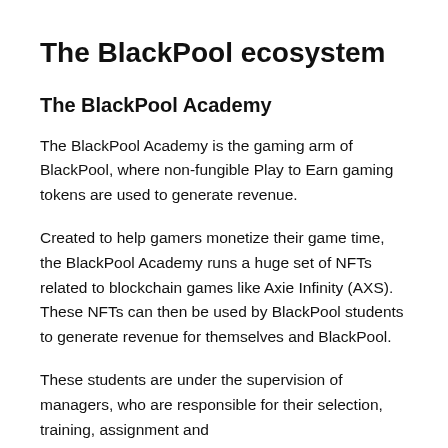The BlackPool ecosystem
The BlackPool Academy
The BlackPool Academy is the gaming arm of BlackPool, where non-fungible Play to Earn gaming tokens are used to generate revenue.
Created to help gamers monetize their game time, the BlackPool Academy runs a huge set of NFTs related to blockchain games like Axie Infinity (AXS). These NFTs can then be used by BlackPool students to generate revenue for themselves and BlackPool.
These students are under the supervision of managers, who are responsible for their selection, training, assignment and